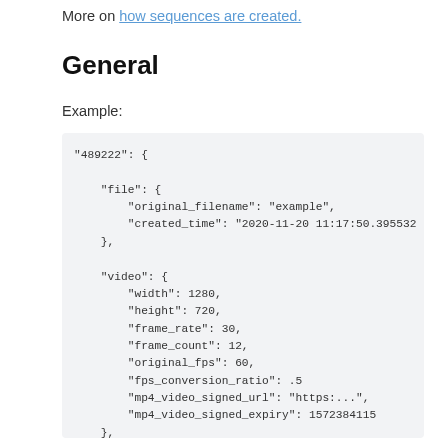More on how sequences are created.
General
Example:
"489222": {
    "file": {
        "original_filename": "example",
        "created_time": "2020-11-20 11:17:50.395532
    },

    "video": {
        "width": 1280,
        "height": 720,
        "frame_rate": 30,
        "frame_count": 12,
        "original_fps": 60,
        "fps_conversion_ratio": .5
        "mp4_video_signed_url": "https:...",
        "mp4_video_signed_expiry": 1572384115
    },